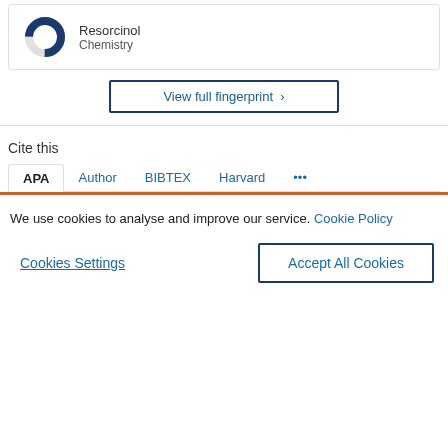[Figure (donut-chart): Partial donut chart showing Resorcinol percentage in Chemistry]
Resorcinol
Chemistry
View full fingerprint >
Cite this
APA  Author  BIBTEX  Harvard  ...
We use cookies to analyse and improve our service. Cookie Policy
Cookies Settings    Accept All Cookies